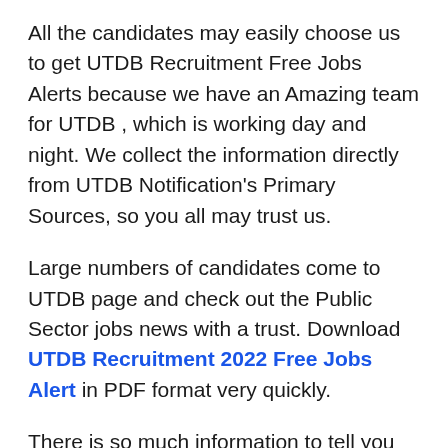All the candidates may easily choose us to get UTDB Recruitment Free Jobs Alerts because we have an Amazing team for UTDB , which is working day and night. We collect the information directly from UTDB Notification's Primary Sources, so you all may trust us.
Large numbers of candidates come to UTDB page and check out the Public Sector jobs news with a trust. Download UTDB Recruitment 2022 Free Jobs Alert in PDF format very quickly.
There is so much information to tell you regarding UTDB Govt Jobs, and we want all of you to bookmark us for that. All latest Free Job Alerts of UTDB will be shared with you.